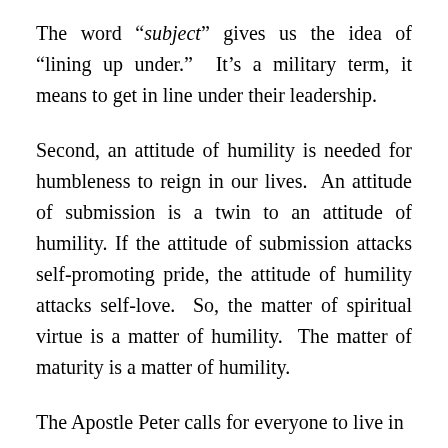The word “subject” gives us the idea of “lining up under.”  It’s a military term, it means to get in line under their leadership.
Second, an attitude of humility is needed for humbleness to reign in our lives.  An attitude of submission is a twin to an attitude of humility. If the attitude of submission attacks self-promoting pride, the attitude of humility attacks self-love.  So, the matter of spiritual virtue is a matter of humility.  The matter of maturity is a matter of humility.
The Apostle Peter calls for everyone to live in